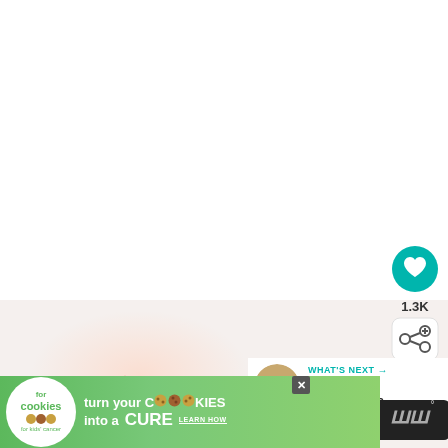[Figure (screenshot): White background upper portion of a recipe website page]
[Figure (infographic): Teal heart/like button icon with 1.3K likes count and share button below]
1.3K
[Figure (infographic): What's Next panel showing Fiesta Mexican Rice with a bowl thumbnail]
WHAT'S NEXT → Fiesta Mexican Rice
[Figure (illustration): Red sparkle/star decoration element]
[Figure (screenshot): Cookies for Kids Cancer advertisement banner: turn your COOKIES into a CURE LEARN HOW]
[Figure (logo): Wegmans logo (stylized WW with degree symbol)]